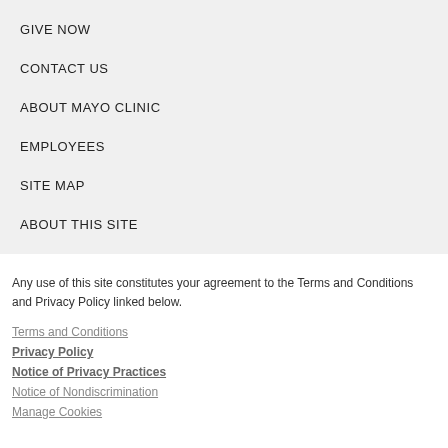GIVE NOW
CONTACT US
ABOUT MAYO CLINIC
EMPLOYEES
SITE MAP
ABOUT THIS SITE
Any use of this site constitutes your agreement to the Terms and Conditions and Privacy Policy linked below.
Terms and Conditions
Privacy Policy
Notice of Privacy Practices
Notice of Nondiscrimination
Manage Cookies